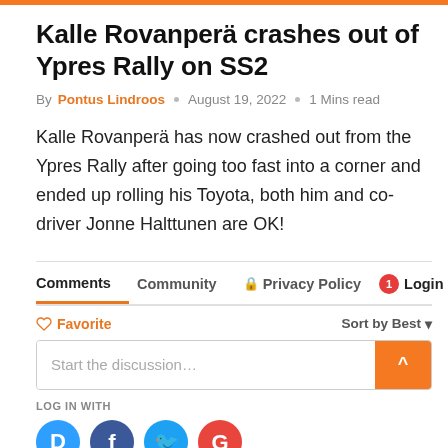Kalle Rovanperä crashes out of Ypres Rally on SS2
By Pontus Lindroos  ○  August 19, 2022  ○  1 Mins read
Kalle Rovanperä has now crashed out from the Ypres Rally after going too fast into a corner and ended up rolling his Toyota, both him and co-driver Jonne Halttunen are OK!
Comments  Community  🔒 Privacy Policy  1 Login
♡ Favorite   Sort by Best ▾
Start the discussion…
LOG IN WITH
[Figure (other): Social login icons: Disqus (blue), Facebook (dark blue), Twitter (light blue), Google (red)]